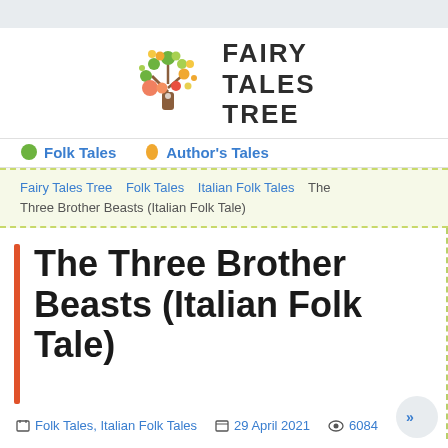[Figure (logo): Fairy Tales Tree logo: a colorful tree with orange trunk and multicolored round fruit/leaves in green, orange, yellow, pink]
FAIRY TALES TREE
🌿 Folk Tales
🍂 Author's Tales
Fairy Tales Tree   Folk Tales   Italian Folk Tales   The Three Brother Beasts (Italian Folk Tale)
The Three Brother Beasts (Italian Folk Tale)
Folk Tales, Italian Folk Tales   29 April 2021   6084